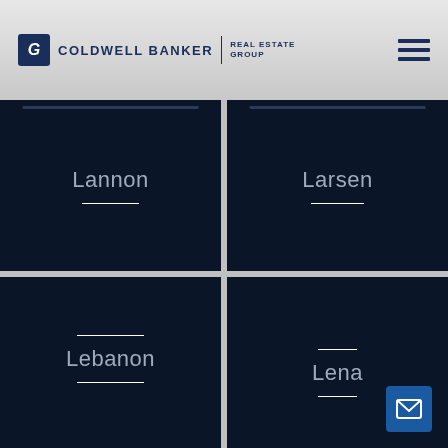[Figure (logo): Coldwell Banker Real Estate Group logo with hamburger menu icon]
Lannon
Larsen
Lebanon
Lena